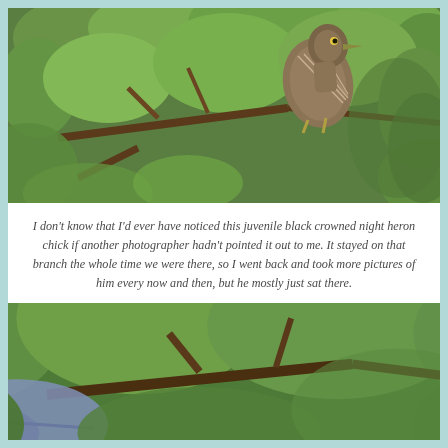[Figure (photo): A juvenile black crowned night heron chick perched on a branch amid dense green foliage in bright sunlight. The bird has brown and white streaked plumage and is gripping a bare branch with its yellow feet.]
I don't know that I'd ever have noticed this juvenile black crowned night heron chick if another photographer hadn't pointed it out to me. It stayed on that branch the whole time we were there, so I went back and took more pictures of him every now and then, but he mostly just sat there.
[Figure (photo): A second photo of the same wooded area with dense green foliage and branches, showing the heron partially visible among leaves at the bottom of the frame.]